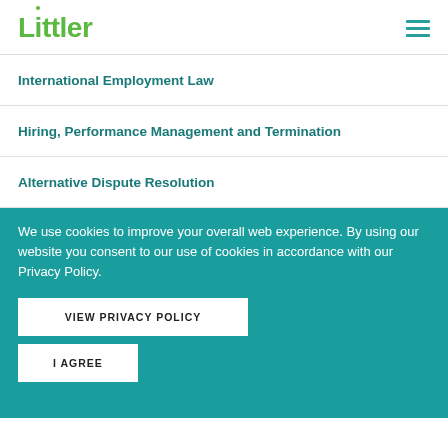Littler
International Employment Law
Hiring, Performance Management and Termination
Alternative Dispute Resolution
Related News & Analysis
We use cookies to improve your overall web experience. By using our website you consent to our use of cookies in accordance with our Privacy Policy.
VIEW PRIVACY POLICY
I AGREE